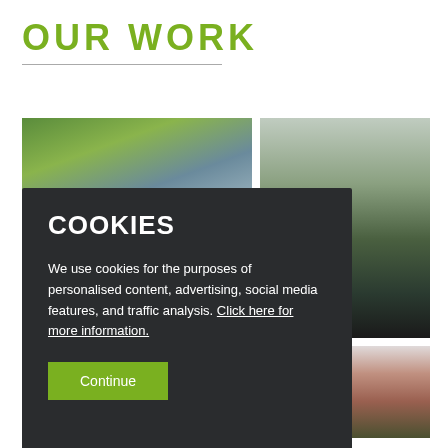OUR WORK
[Figure (photo): Collection of photos showing buildings, roads, and landscaping — top-left: modern building exterior with green trees; top-right: road with parked van; bottom-right: brick residential building with hedge; bottom-left: green trees against blue sky]
COOKIES
We use cookies for the purposes of personalised content, advertising, social media features, and traffic analysis. Click here for more information.
Continue